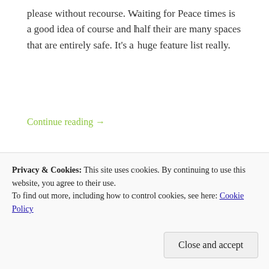please without recourse. Waiting for Peace times is a good idea of course and half their are many spaces that are entirely safe. It's a huge feature list really.
Continue reading →
Share this:
[Figure (other): Five circular social share buttons: Twitter (blue), Facebook (dark blue), Twitter/another (light blue), Tumblr (dark navy), More (gray)]
Privacy & Cookies: This site uses cookies. By continuing to use this website, you agree to their use. To find out more, including how to control cookies, see here: Cookie Policy
Close and accept